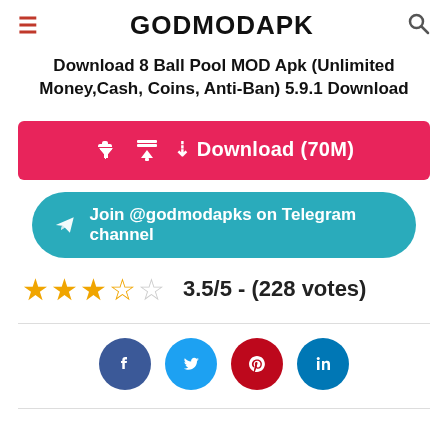GODMODAPK
Download 8 Ball Pool MOD Apk (Unlimited Money,Cash, Coins, Anti-Ban) 5.9.1 Download
[Figure (other): Red download button with download icon, text: Download (70M)]
[Figure (other): Teal rounded button with Telegram paper plane icon, text: Join @godmodapks on Telegram channel]
[Figure (other): Star rating: 3.5 out of 5 stars (4 stars filled including one half), with text: 3.5/5 - (228 votes)]
[Figure (other): Social media share icons: Facebook (blue circle), Twitter (light blue circle), Pinterest (red circle), LinkedIn (teal circle)]